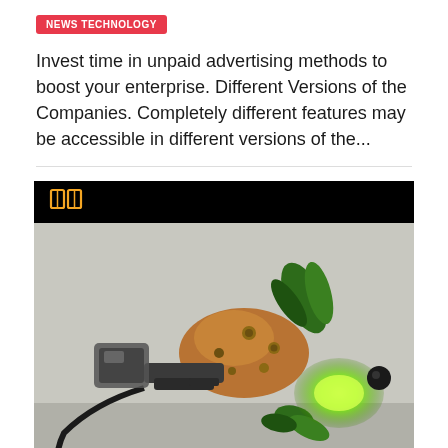NEWS TECHNOLOGY
Invest time in unpaid advertising methods to boost your enterprise. Different Versions of the Companies. Completely different features may be accessible in different versions of the...
[Figure (photo): A steampunk-style mechanical bird or device with copper/bronze metallic parts, green feathers, glowing green light, sitting on a surface. Black bar at top with orange book icon, black bar at bottom.]
GK Digital Media